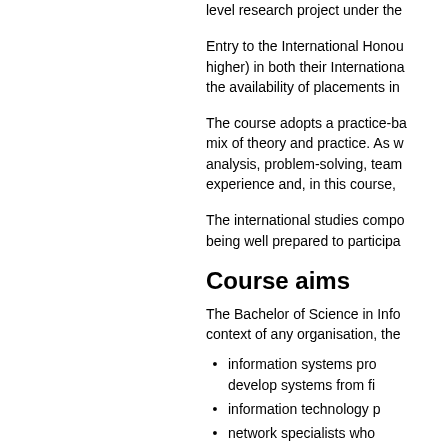level research project under the...
Entry to the International Honou... higher) in both their Internationa... the availability of placements in...
The course adopts a practice-ba... mix of theory and practice. As w... analysis, problem-solving, team... experience and, in this course,...
The international studies compo... being well prepared to participa...
Course aims
The Bachelor of Science in Info... context of any organisation, the...
information systems pro... develop systems from fi...
information technology p...
network specialists who...
computing specialists fo...
The Bachelor of International S...